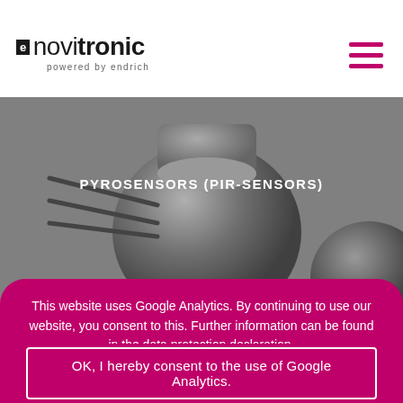novitronic – powered by endrich
[Figure (photo): Close-up photo of pyrosensors (PIR sensors), metallic cylindrical components with wires on a grey background]
PYROSENSORS (PIR-SENSORS)
This website uses Google Analytics. By continuing to use our website, you consent to this. Further information can be found in the data protection declaration.
OK, I hereby consent to the use of Google Analytics.